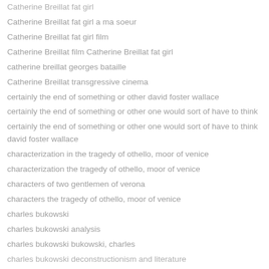Catherine Breillat fat girl
Catherine Breillat fat girl a ma soeur
Catherine Breillat fat girl film
Catherine Breillat film Catherine Breillat fat girl
catherine breillat georges bataille
Catherine Breillat transgressive cinema
certainly the end of something or other david foster wallace
certainly the end of something or other one would sort of have to think
certainly the end of something or other one would sort of have to think david foster wallace
characterization in the tragedy of othello, moor of venice
characterization the tragedy of othello, moor of venice
characters of two gentlemen of verona
characters the tragedy of othello, moor of venice
charles bukowski
charles bukowski analysis
charles bukowski bukowski, charles
charles bukowski deconstructionism and literature